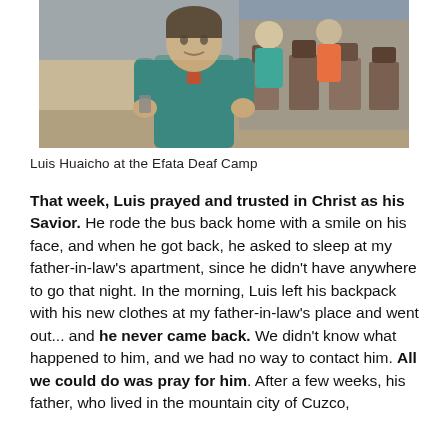[Figure (photo): A man in a teal/blue t-shirt standing in a room with chairs and other people in the background, at the Efata Deaf Camp.]
Luis Huaicho at the Efata Deaf Camp
That week, Luis prayed and trusted in Christ as his Savior. He rode the bus back home with a smile on his face, and when he got back, he asked to sleep at my father-in-law's apartment, since he didn't have anywhere to go that night. In the morning, Luis left his backpack with his new clothes at my father-in-law's place and went out... and he never came back. We didn't know what happened to him, and we had no way to contact him. All we could do was pray for him. After a few weeks, his father, who lived in the mountain city of Cuzco,